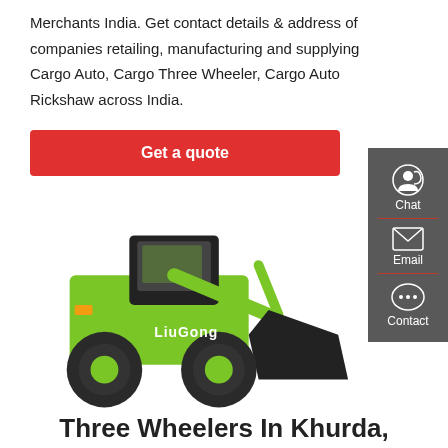Merchants India. Get contact details & address of companies retailing, manufacturing and supplying Cargo Auto, Cargo Three Wheeler, Cargo Auto Rickshaw across India.
Get a quote
[Figure (photo): Green LiuGong wheel loader / front-end loader construction machine with large black bucket, on white background]
Three Wheelers In Khurda,